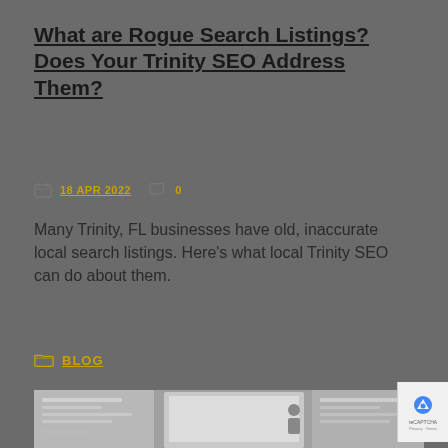What are Rogue Search Listings? Does Your Trinity SEO Address Them?
18 APR 2022   0
Many Trinity, FL businesses have old, inaccurate local search listings. Here's what local Trinity SEO can do about them.
BLOG
[Figure (photo): Screenshot showing search listings interface with a person standing near a computer screen]